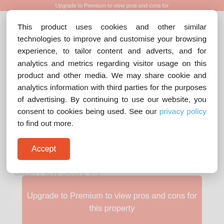Upgrade to Premium to view pros and cons for
This product uses cookies and other similar technologies to improve and customise your browsing experience, to tailor content and adverts, and for analytics and metrics regarding visitor usage on this product and other media. We may share cookie and analytics information with third parties for the purposes of advertising. By continuing to use our website, you consent to cookies being used. See our privacy policy to find out more.
Accept
Cash Flow Score
Upgrade to Premium to view pros and cons for this property